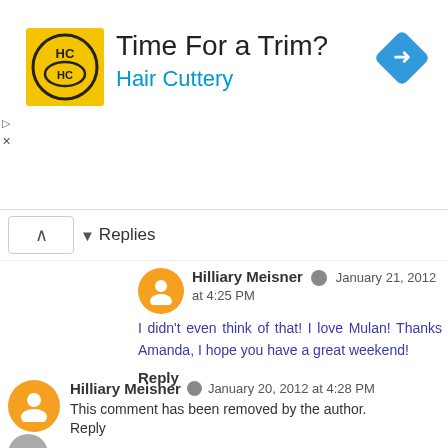[Figure (infographic): Advertisement banner for Hair Cuttery with logo, tagline 'Time For a Trim?' and 'Hair Cuttery', and a blue navigation arrow icon]
Replies
Hilliary Meisner  January 21, 2012 at 4:25 PM
I didn't even think of that! I love Mulan! Thanks Amanda, I hope you have a great weekend!
Reply
Hilliary Meisner  January 20, 2012 at 4:28 PM
This comment has been removed by the author.
Reply
eatgood4life.blogspot.com  January 20, 2012 at 4:52 PM